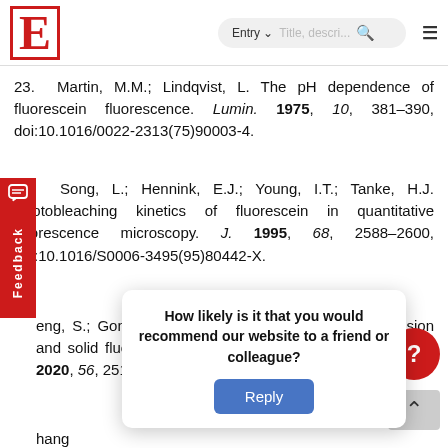E  Entry  Title, description... [search]
23. Martin, M.M.; Lindqvist, L. The pH dependence of fluorescein fluorescence. Lumin. 1975, 10, 381–390, doi:10.1016/0022-2313(75)90003-4.
24. Song, L.; Hennink, E.J.; Young, I.T.; Tanke, H.J. Photobleaching kinetics of fluorescein in quantitative fluorescence microscopy. J. 1995, 68, 2588–2600, doi:10.1016/S0006-3495(95)80442-X.
25. [partially obscured] eng, S.; Gong, S.; Feng, G. Aggregation-induced mission and solid fluorescence of fluorescein erivatives. Commun. 2020, 56, 2511–2513, doi:10.1039/C9CC09784H.
26. [partially obscured] hang... Properties of Two... Quantum Yield, ... 2024, 81.